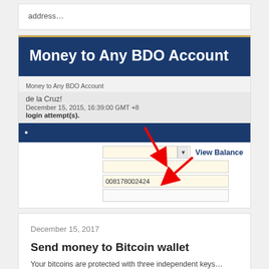address…
[Figure (screenshot): BDO online banking screenshot showing 'Money to Any BDO Account' blue banner header with gold accent line, breadcrumb navigation, user metadata (de la Cruz, December 15 2015 16:39:00 GMT+8, login attempts), a dark blue navigation bar, a form with dropdown selector, View Balance link, account number field showing 008178002424, and a blank input field. Two red arrows point to the dropdown and account number fields.]
Money to Any BDO Account
de la Cruz!
December 15, 2015, 16:39:00 GMT +8
login attempt(s).
008178002424
December 15, 2017
Send money to Bitcoin wallet
Your bitcoins are protected with three independent keys…